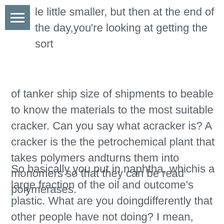le little smaller, but then at the end of the day,you're looking at getting the sort
of tanker ship size of shipments to beable to know the materials to the most suitable cracker. Can you say what acracker is? A cracker is the the petrochemical plant that takes polymers andturns them into monomers so that they can be read polymerases.
So basically you put in naphtha, whichis a large fraction of the oil and outcome's plastic. What are you doingdifferently that other people have not doing? I mean, there's anecdotes aboutpyrolysis not succeeding in certain locations. What are you doing, right?